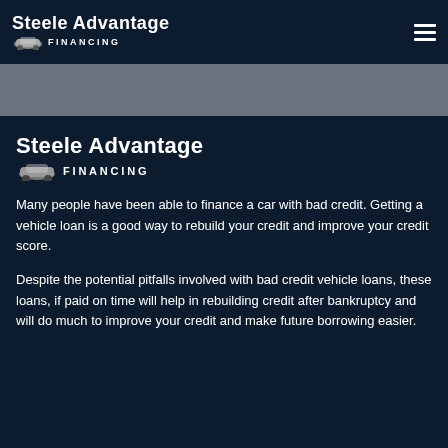Steele Advantage FINANCING
[Figure (logo): Steele Advantage Financing logo with car icon, shown in the main content area]
Many people have been able to finance a car with bad credit. Getting a vehicle loan is a good way to rebuild your credit and improve your credit score.
Despite the potential pitfalls involved with bad credit vehicle loans, these loans, if paid on time will help in rebuilding credit after bankruptcy and will do much to improve your credit and make future borrowing easier.